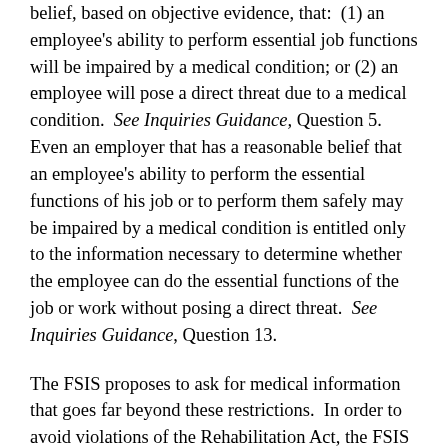belief, based on objective evidence, that: (1) an employee's ability to perform essential job functions will be impaired by a medical condition; or (2) an employee will pose a direct threat due to a medical condition. See Inquiries Guidance, Question 5. Even an employer that has a reasonable belief that an employee's ability to perform the essential functions of his job or to perform them safely may be impaired by a medical condition is entitled only to the information necessary to determine whether the employee can do the essential functions of the job or work without posing a direct threat. See Inquiries Guidance, Question 13.
The FSIS proposes to ask for medical information that goes far beyond these restrictions. In order to avoid violations of the Rehabilitation Act, the FSIS should not use the proposed forms to collect medical information from employees. Instead, when a situation arises in which